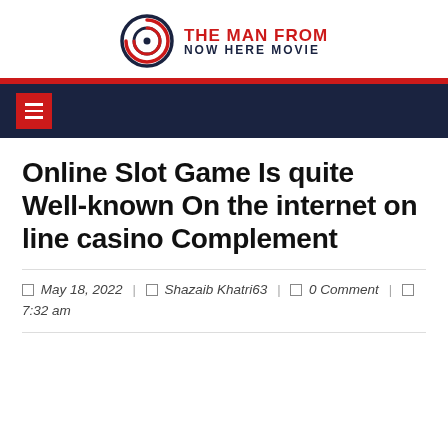[Figure (logo): The Man From Now Here Movie logo with circular concentric ring graphic in navy and red, and text 'THE MAN FROM NOW HERE MOVIE']
Navigation bar with hamburger menu icon
Online Slot Game Is quite Well-known On the internet on line casino Complement
May 18, 2022 | Shazaib Khatri63 | 0 Comment | 7:32 am